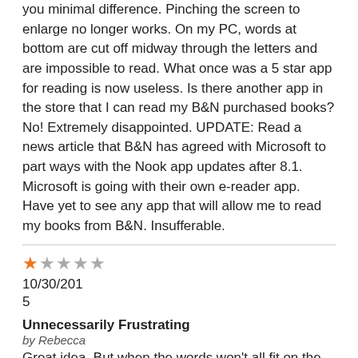you minimal difference. Pinching the screen to enlarge no longer works. On my PC, words at bottom are cut off midway through the letters and are impossible to read. What once was a 5 star app for reading is now useless. Is there another app in the store that I can read my B&N purchased books? No! Extremely disappointed. UPDATE: Read a news article that B&N has agreed with Microsoft to part ways with the Nook app updates after 8.1. Microsoft is going with their own e-reader app. Have yet to see any app that will allow me to read my books from B&N. Insufferable.
★☆☆☆☆
10/30/2015
Unnecessarily Frustrating
by Rebecca
Great idea. But when the words won't all fit on the page and there's no way to make them, it's rather frustrating. No matter how I change the margins or text size, the last line or two is missing on every page. It just runs right off the